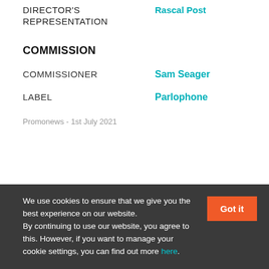DIRECTOR'S REPRESENTATION
Rascal Post
COMMISSION
COMMISSIONER
Sam Seager
LABEL
Parlophone
Promonews - 1st July 2021
We use cookies to ensure that we give you the best experience on our website. By continuing to use our website, you agree to this. However, if you want to manage your cookie settings, you can find out more here.